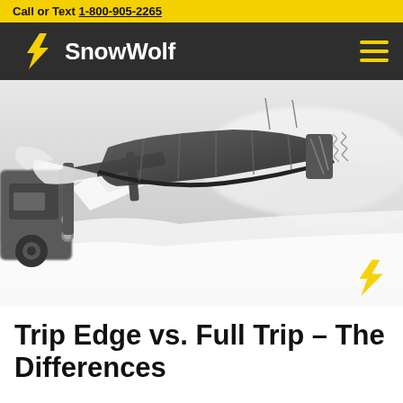Call or Text 1-800-905-2265
[Figure (logo): SnowWolf company logo with yellow lightning bolt icon and white brand name on dark background, with hamburger menu icon on right]
[Figure (photo): Black and white action photo of a snow plow pushing snow, close-up of plow blade and attachment mechanism with motion blur effect; SnowWolf logo watermark in bottom right]
Trip Edge vs. Full Trip – The Differences